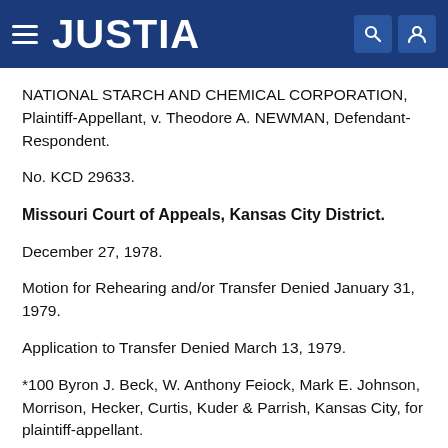JUSTIA
NATIONAL STARCH AND CHEMICAL CORPORATION, Plaintiff-Appellant, v. Theodore A. NEWMAN, Defendant-Respondent.
No. KCD 29633.
Missouri Court of Appeals, Kansas City District.
December 27, 1978.
Motion for Rehearing and/or Transfer Denied January 31, 1979.
Application to Transfer Denied March 13, 1979.
*100 Byron J. Beck, W. Anthony Feiock, Mark E. Johnson, Morrison, Hecker, Curtis, Kuder & Parrish, Kansas City, for plaintiff-appellant.